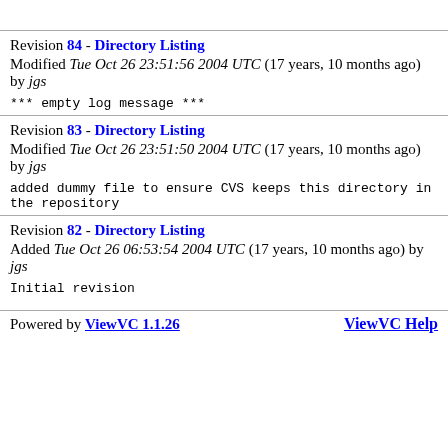Revision 84 - Directory Listing
Modified Tue Oct 26 23:51:56 2004 UTC (17 years, 10 months ago) by jgs
*** empty log message ***
Revision 83 - Directory Listing
Modified Tue Oct 26 23:51:50 2004 UTC (17 years, 10 months ago) by jgs
added dummy file to ensure CVS keeps this directory in
the repository
Revision 82 - Directory Listing
Added Tue Oct 26 06:53:54 2004 UTC (17 years, 10 months ago) by jgs
Initial revision
ViewVC Help
Powered by ViewVC 1.1.26